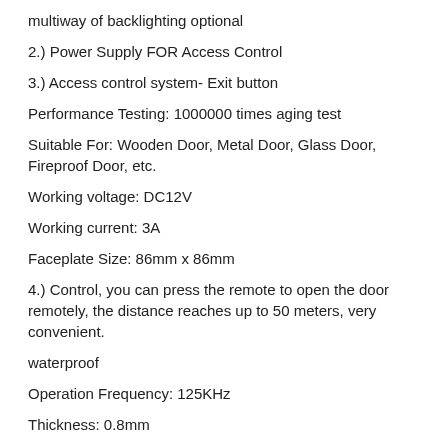multiway of backlighting optional
2.) Power Supply FOR Access Control
3.) Access control system- Exit button
Performance Testing: 1000000 times aging test
Suitable For: Wooden Door, Metal Door, Glass Door, Fireproof Door, etc.
Working voltage: DC12V
Working current: 3A
Faceplate Size: 86mm x 86mm
4.) Control, you can press the remote to open the door remotely, the distance reaches up to 50 meters, very convenient.
waterproof
Operation Frequency: 125KHz
Thickness: 0.8mm
Detecting distance: 3-10cm
Compatible with all RFID ID card reader to gain access